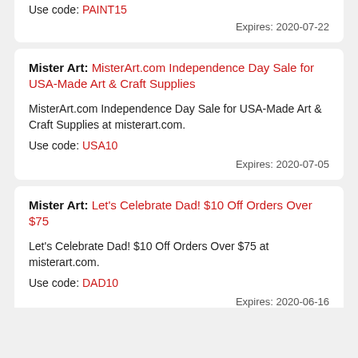Use code: PAINT15
Expires: 2020-07-22
Mister Art: MisterArt.com Independence Day Sale for USA-Made Art & Craft Supplies
MisterArt.com Independence Day Sale for USA-Made Art & Craft Supplies at misterart.com.
Use code: USA10
Expires: 2020-07-05
Mister Art: Let's Celebrate Dad! $10 Off Orders Over $75
Let's Celebrate Dad! $10 Off Orders Over $75 at misterart.com.
Use code: DAD10
Expires: 2020-06-16